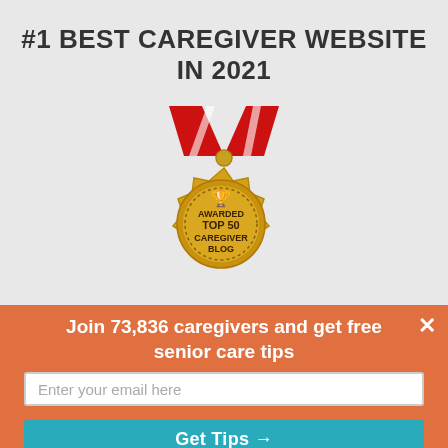#1 BEST CAREGIVER WEBSITE IN 2021
[Figure (illustration): Gold award medal with red ribbon and text 'AWARDED TOP 50 CAREGIVER BLOG' with trophy icon]
Join 73,836 caregivers and get free senior care tips
Enter your email here
Get Tips →